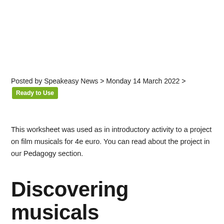Posted by Speakeasy News > Monday 14 March 2022 > Ready to Use
This worksheet was used as in introductory activity to a project on film musicals for 4e euro. You can read about the project in our Pedagogy section.
Discovering musicals